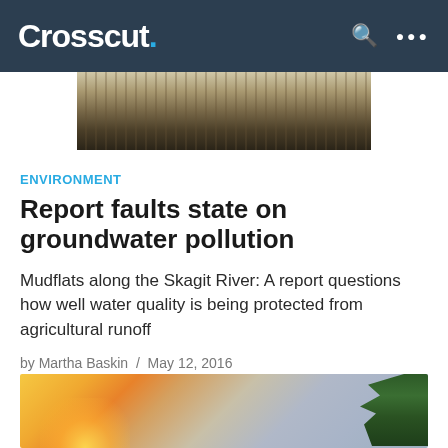Crosscut.
[Figure (photo): Mudflats along the Skagit River with dark wetland vegetation and water]
ENVIRONMENT
Report faults state on groundwater pollution
Mudflats along the Skagit River: A report questions how well water quality is being protected from agricultural runoff
by Martha Baskin  /  May 12, 2016
[Figure (photo): Sunset sky with clouds and tree silhouette on the right]